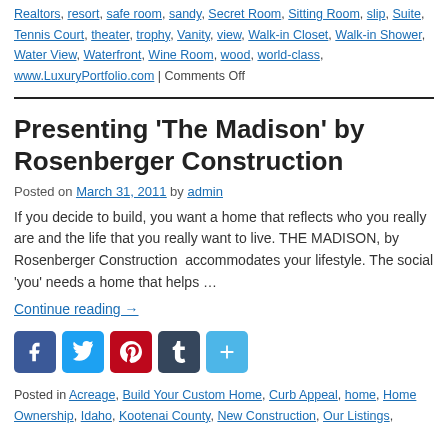Realtors, resort, safe room, sandy, Secret Room, Sitting Room, slip, Suite, Tennis Court, theater, trophy, Vanity, view, Walk-in Closet, Walk-in Shower, Water View, Waterfront, Wine Room, wood, world-class, www.LuxuryPortfolio.com | Comments Off
Presenting 'The Madison' by Rosenberger Construction
Posted on March 31, 2011 by admin
If you decide to build, you want a home that reflects who you really are and the life that you really want to live. THE MADISON, by Rosenberger Construction  accommodates your lifestyle. The social 'you' needs a home that helps …
Continue reading →
[Figure (infographic): Row of social media share buttons: Facebook (blue), Twitter (light blue), Pinterest (red), Tumblr (dark blue-gray), and a plus/more button (light blue)]
Posted in Acreage, Build Your Custom Home, Curb Appeal, home, Home Ownership, Idaho, Kootenai County, New Construction, Our Listings,